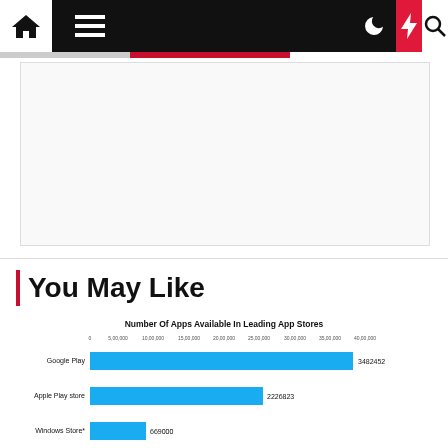Navigation bar with home, menu, moon, bolt, search icons
[Figure (other): Advertisement placeholder area]
You May Like
[Figure (bar-chart): Number Of Apps Available In Leading App Stores]